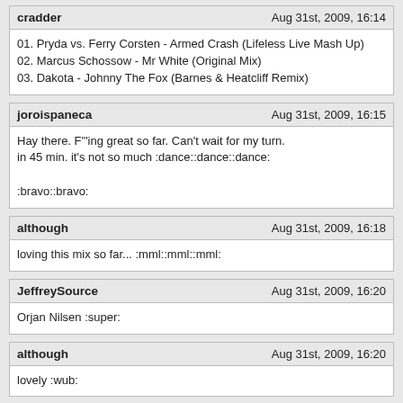cradder — Aug 31st, 2009, 16:14
01. Pryda vs. Ferry Corsten - Armed Crash (Lifeless Live Mash Up)
02. Marcus Schossow - Mr White (Original Mix)
03. Dakota - Johnny The Fox (Barnes & Heatcliff Remix)
joroispaneca — Aug 31st, 2009, 16:15
Hay there. F""ing great so far. Can't wait for my turn.
in 45 min. it's not so much :dance::dance::dance:

:bravo::bravo:
although — Aug 31st, 2009, 16:18
loving this mix so far... :mml::mml::mml:
JeffreySource — Aug 31st, 2009, 16:20
Orjan Nilsen :super:
although — Aug 31st, 2009, 16:20
lovely :wub:
Shaqie — Aug 31st, 2009, 16:21
COOL !!!!!!

Orjan Nilsen - Moving Mojave

lifeless is living... !!!!...